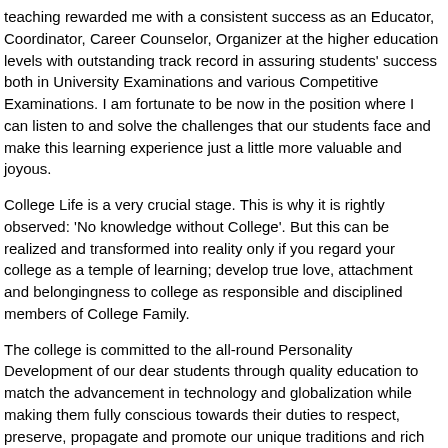teaching rewarded me with a consistent success as an Educator, Coordinator, Career Counselor, Organizer at the higher education levels with outstanding track record in assuring students' success both in University Examinations and various Competitive Examinations. I am fortunate to be now in the position where I can listen to and solve the challenges that our students face and make this learning experience just a little more valuable and joyous.
College Life is a very crucial stage. This is why it is rightly observed: 'No knowledge without College'. But this can be realized and transformed into reality only if you regard your college as a temple of learning; develop true love, attachment and belongingness to college as responsible and disciplined members of College Family.
The college is committed to the all-round Personality Development of our dear students through quality education to match the advancement in technology and globalization while making them fully conscious towards their duties to respect, preserve, propagate and promote our unique traditions and rich cultural heritage - as Loss of Culture is Loss of Identity.
Today, there is a throat cutting competition in every sphere of life - only a few emerge successful winners and achievers, while the...